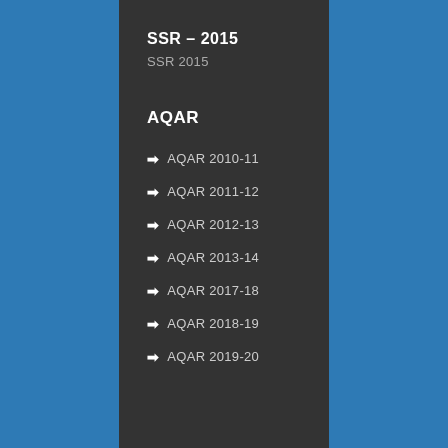SSR – 2015
SSR 2015
AQAR
AQAR 2010-11
AQAR 2011-12
AQAR 2012-13
AQAR 2013-14
AQAR 2017-18
AQAR 2018-19
AQAR 2019-20